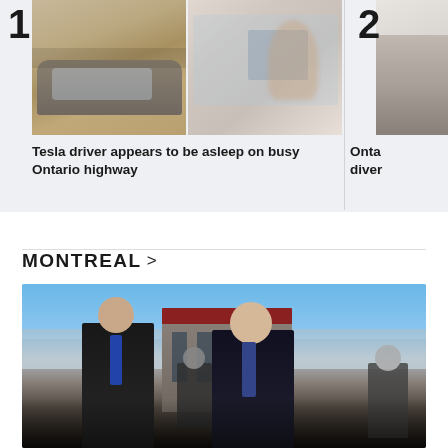[Figure (photo): News article photo #1 of Tesla car on highway, showing driver appears to be asleep, with ranking number 1]
Tesla driver appears to be asleep on busy Ontario highway
[Figure (photo): News article photo #2, partially visible, with ranking number 2, headline starting with 'Onta...' and 'diver...']
MONTREAL >
[Figure (photo): Photo of two men in suits outdoors, with city in background, for a Montreal news story]